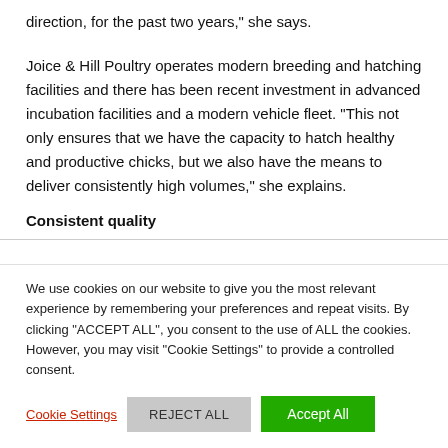direction, for the past two years," she says.
Joice & Hill Poultry operates modern breeding and hatching facilities and there has been recent investment in advanced incubation facilities and a modern vehicle fleet. "This not only ensures that we have the capacity to hatch healthy and productive chicks, but we also have the means to deliver consistently high volumes," she explains.
Consistent quality
We use cookies on our website to give you the most relevant experience by remembering your preferences and repeat visits. By clicking “ACCEPT ALL”, you consent to the use of ALL the cookies. However, you may visit "Cookie Settings" to provide a controlled consent.
Cookie Settings | REJECT ALL | Accept All